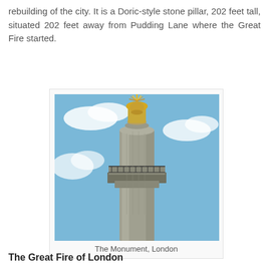rebuilding of the city. It is a Doric-style stone pillar, 202 feet tall, situated 202 feet away from Pudding Lane where the Great Fire started.
[Figure (photo): Upward-angle photograph of the Monument to the Great Fire of London, showing a tall Doric stone column with a golden urn finial at the top and a viewing platform with iron railings, against a blue sky with white clouds.]
The Monument, London
The Great Fire of London